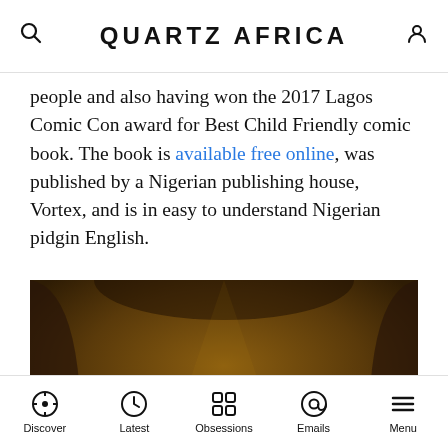QUARTZ AFRICA
people and also having won the 2017 Lagos Comic Con award for Best Child Friendly comic book. The book is available free online, was published by a Nigerian publishing house, Vortex, and is in easy to understand Nigerian pidgin English.
[Figure (illustration): Comic book illustration with warm brown/amber tones showing cartoon skeleton characters and what appears to be a treasure chest in a dungeon-like setting.]
Discover  Latest  Obsessions  Emails  Menu